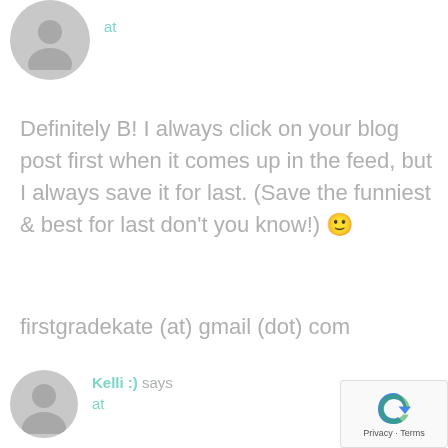[Figure (illustration): Gray default user avatar circle icon at top left]
at
Definitely B! I always click on your blog post first when it comes up in the feed, but I always save it for last. (Save the funniest & best for last don't you know!) 🙂
firstgradekate (at) gmail (dot) com
[Figure (illustration): Gray default user avatar circle icon at bottom left]
Kelli :) says
at
[Figure (logo): Google reCAPTCHA badge with spinning icon and Privacy Terms text]